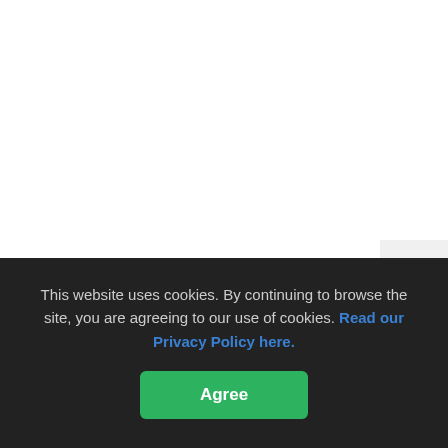[Figure (other): White blank area occupying the upper portion of the page, with a partially visible scroll-to-top button in the upper right corner showing an upward arrow on a light grey background.]
This website uses cookies. By continuing to browse the site, you are agreeing to our use of cookies. Read our Privacy Policy here.
Agree